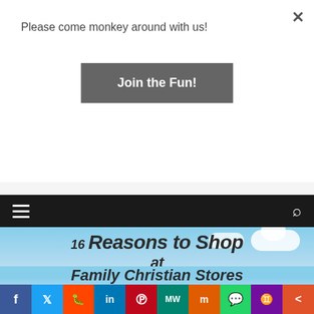Please come monkey around with us!
Join the Fun!
[Figure (screenshot): Website popup with join button, teal bar, navigation bar with hamburger menu and search icon, hero image showing '16 Reasons to Shop at Family Christian Stores' text over sky background, and social sharing bar at bottom]
16 Reasons to Shop at Family Christian Stores